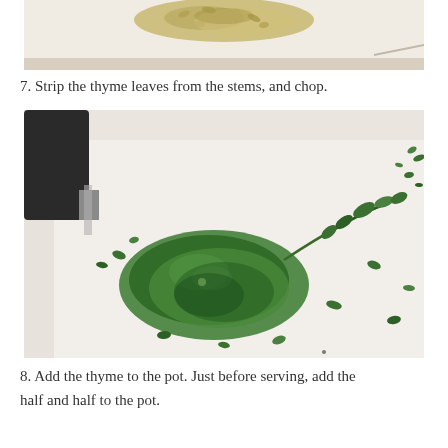[Figure (photo): Top portion of a photo showing chopped herbs or seeds on a white cutting board]
7.  Strip the thyme leaves from the stems, and chop.
[Figure (photo): Fresh thyme sprigs and stripped thyme leaves on a white cutting board with a dark knife handle visible on the left side]
8.  Add the thyme to the pot.  Just before serving, add the half and half to the pot.